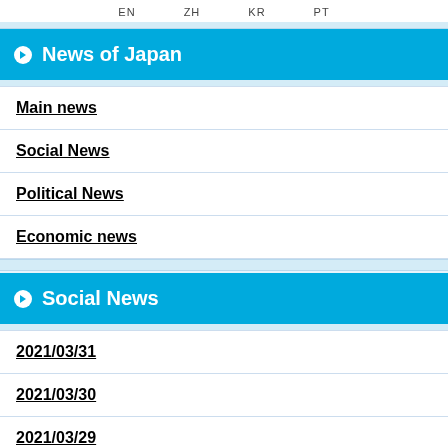EN   ZH   KR   PT
News of Japan
Main news
Social News
Political News
Economic news
Social News
2021/03/31
2021/03/30
2021/03/29